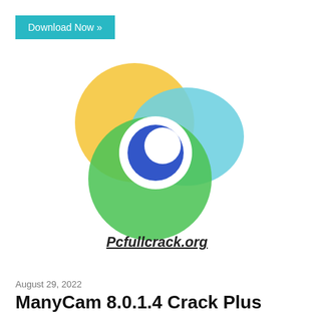Download Now »
[Figure (logo): ManyCam logo consisting of three overlapping circles in yellow, green, and light blue, with a white ring and blue circle (eye-like icon) in the center, and the text 'Pcfullcrack.org' in bold italic underlined below.]
August 29, 2022
ManyCam 8.0.1.4 Crack Plus Activation Code Free Download